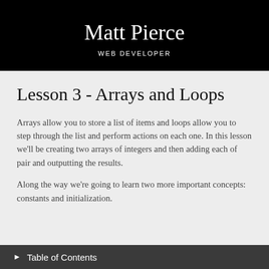Matt Pierce
WEB DEVELOPER
Lesson 3 - Arrays and Loops
Arrays allow you to store a list of items and loops allow you to step through the list and perform actions on each one. In this lesson we'll be creating two arrays of integers and then adding each of pair and outputting the results.
Along the way we're going to learn two more important concepts: constants and initialization.
▶ Table of Contents